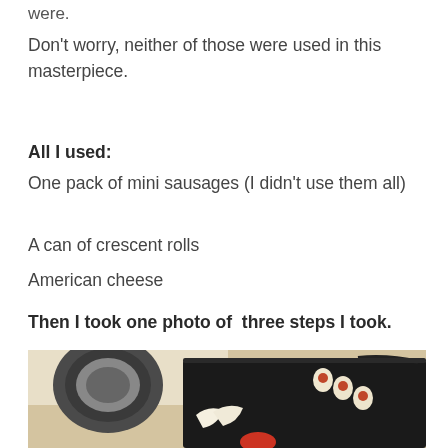were.
Don't worry, neither of those were used in this masterpiece.
All I used:
One pack of mini sausages (I didn't use them all)
A can of crescent rolls
American cheese
Then I took one photo of  three steps I took.
[Figure (photo): A dark griddle/cooking surface on a stove with small sausage-filled crescent roll pieces arranged on the right side, some uncooked dough pieces on the left, and a red element at the bottom. The background shows a kitchen setting.]